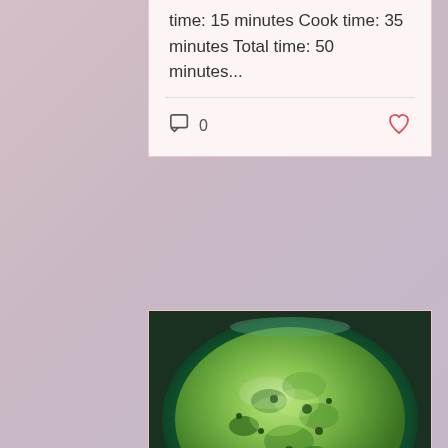time: 15 minutes Cook time: 35 minutes Total time: 50 minutes...
[Figure (photo): Close-up photo of a green bowl filled with fresh coriander chutney (green paste/sauce)]
Fresh Coriander